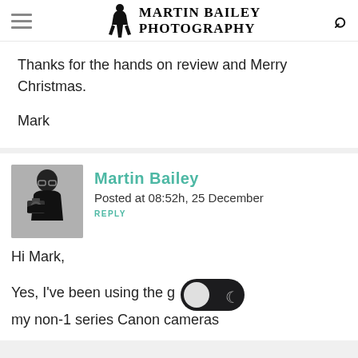Martin Bailey Photography
Thanks for the hands on review and Merry Christmas.

Mark
[Figure (photo): Black and white photo of Martin Bailey holding a camera]
Martin Bailey
Posted at 08:52h, 25 December
REPLY
Hi Mark,
Yes, I've been using the g[...] my non-1 series Canon cameras